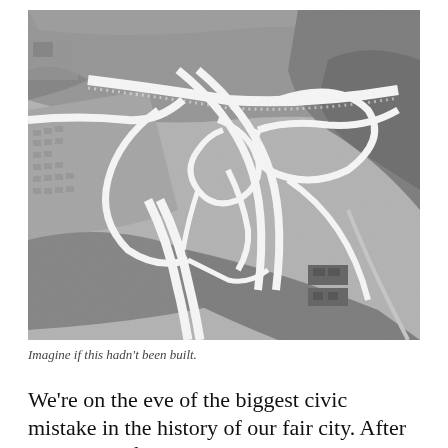[Figure (photo): Black and white aerial photograph of a large highway interchange/cloverleaf intersection with multiple ramps and overpasses, surrounded by residential neighborhoods, trees, and a river or bay visible in the upper portion of the image.]
Imagine if this hadn't been built.
We're on the eve of the biggest civic mistake in the history of our fair city. After 4 decades of protest...